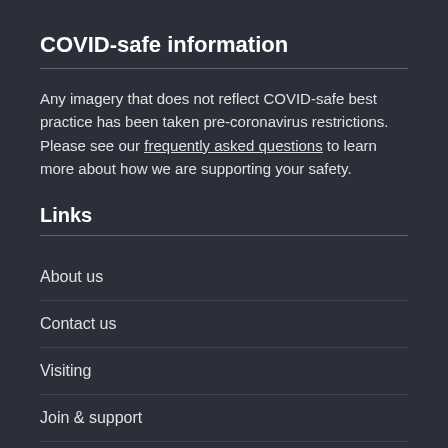COVID-safe information
Any imagery that does not reflect COVID-safe best practice has been taken pre-coronavirus restrictions. Please see our frequently asked questions to learn more about how we are supporting your safety.
Links
About us
Contact us
Visiting
Join & support
Visit